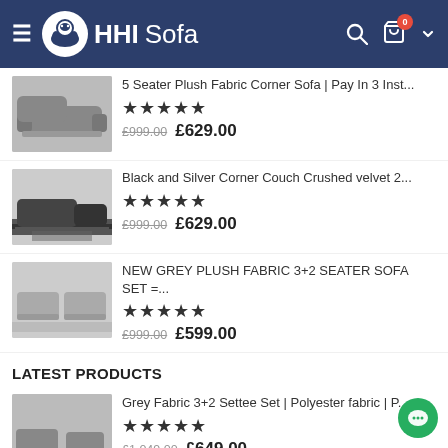HHI Sofa — navigation header with logo, search, cart (0), chevron
5 Seater Plush Fabric Corner Sofa | Pay In 3 Inst...
★★★★★
£999.00  £629.00
Black and Silver Corner Couch Crushed velvet 2...
★★★★★
£999.00  £629.00
NEW GREY PLUSH FABRIC 3+2 SEATER SOFA SET =...
★★★★★
£999.00  £599.00
LATEST PRODUCTS
Grey Fabric 3+2 Settee Set | Polyester fabric | P...
★★★★★
£1,049.00  £649.00